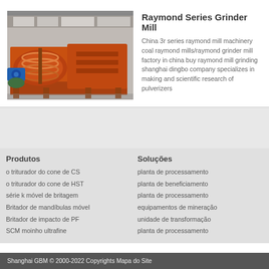[Figure (photo): Orange industrial Raymond Series Grinder Mill machine in a factory setting, showing large spiral/screw conveyor components on an orange steel frame with blue motor]
Raymond Series Grinder Mill
China 3r series raymond mill machinery coal raymond mills/raymond grinder mill factory in china buy raymond mill grinding shanghai dingbo company specializes in making and scientific research of pulverizers
Produtos
o triturador do cone de CS
o triturador do cone de HST
série k móvel de britagem
Britador de mandíbulas móvel
Britador de impacto de PF
SCM moinho ultrafine
Soluções
planta de processamento
planta de beneficiamento
planta de processamento
equipamentos de mineração
unidade de transformação
planta de processamento
Shanghai GBM © 2000-2022 Copyrights Mapa do Site